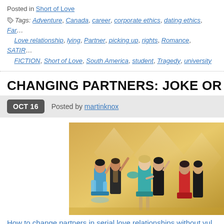Posted in Short of Love
Tags: Adventure, Canada, career, corporate ethics, dating ethics, Family, Love relationship, lying, Partner, picking up, rights, Romance, SATIRE, FICTION, Short of Love, South America, student, Tragedy, university
CHANGING PARTNERS: JOKE OR VIRT…
OCT 16  Posted by martinknox
[Figure (photo): Group of dancers in ballroom dance costumes on a gold/yellow stage background. Three couples visible: a woman in blue/teal fringe dress with a male partner in open lace shirt, a blonde woman in teal feathered dress with a man in black, and a woman in red dress with a male partner in black on the right.]
How to change partners in serial love relationships without vul…